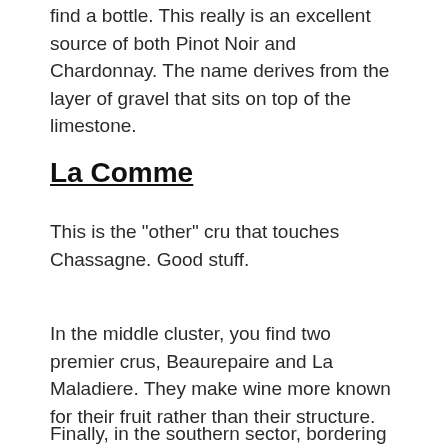find a bottle. This really is an excellent source of both Pinot Noir and Chardonnay.  The name derives from the layer of gravel that sits on top of the limestone.
La Comme
This is the "other" cru that touches Chassagne.  Good stuff.
In the middle cluster, you find two premier crus, Beaurepaire and La Maladiere.  They make wine more known for their fruit rather than their structure.
Finally, in the southern sector, bordering Maranges